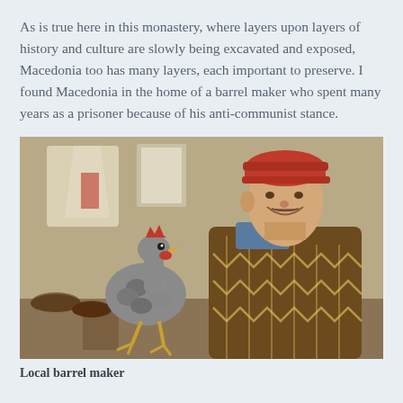As is true here in this monastery, where layers upon layers of history and culture are slowly being excavated and exposed, Macedonia too has many layers, each important to preserve. I found Macedonia in the home of a barrel maker who spent many years as a prisoner because of his anti-communist stance.
[Figure (photo): An elderly man wearing a red baseball cap and a brown patterned sweater sits smiling inside a rustic room. A grey speckled rooster stands on some logs in the foreground to his left. In the background are a plastic bag and a poster on a pale wall.]
Local barrel maker